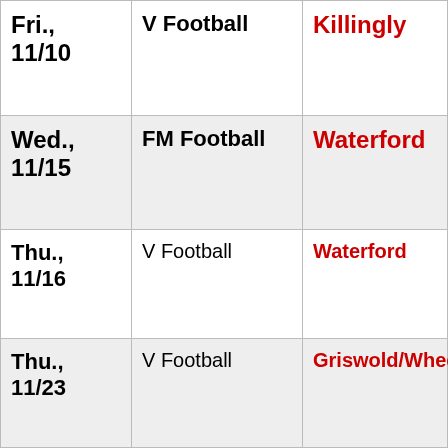| Date | Event | Opponent |
| --- | --- | --- |
| Fri., 11/10 | V Football | Killingly |
| Wed., 11/15 | FM Football | Waterford |
| Thu., 11/16 | V Football | Waterford |
| Thu., 11/23 | V Football | Griswold/Wheeler |